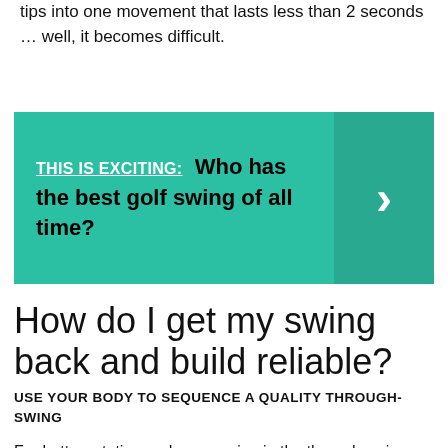tips into one movement that lasts less than 2 seconds … well, it becomes difficult.
[Figure (infographic): Teal/green banner with 'THIS IS EXCITING:' underlined label, bold question 'Who has the best golf swing of all time?' and a darker teal right-arrow button on the right side.]
How do I get my swing back and build reliable?
USE YOUR BODY TO SEQUENCE A QUALITY THROUGH-SWING
For better rotation and sequencing in the through-swing, create an extension of your club's shaft with an alignment rod tucked under your lead arm at address and then start a half-speed swing (above, left). Keep